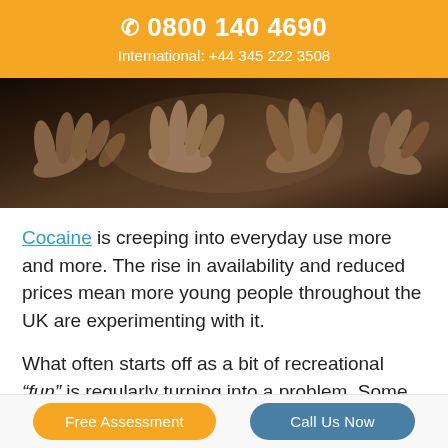0800 140 4690
International: +44 345 222 3508
[Figure (photo): Photograph of multiple hands clasped together in a group, dark moody lighting]
Cocaine is creeping into everyday use more and more. The rise in availability and reduced prices mean more young people throughout the UK are experimenting with it.
What often starts off as a bit of recreational “fun” is regularly turning into a problem. Some people